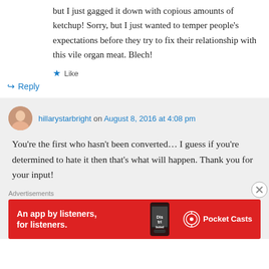but I just gagged it down with copious amounts of ketchup! Sorry, but I just wanted to temper people's expectations before they try to fix their relationship with this vile organ meat. Blech!
★ Like
↪ Reply
hillarystarbright on August 8, 2016 at 4:08 pm
You're the first who hasn't been converted… I guess if you're determined to hate it then that's what will happen. Thank you for your input!
Advertisements
[Figure (infographic): Red Pocket Casts advertisement banner: 'An app by listeners, for listeners.' with phone graphic and Pocket Casts logo]